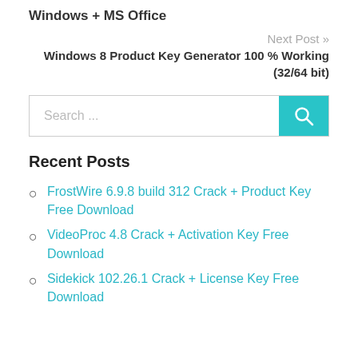Windows + MS Office
Next Post »
Windows 8 Product Key Generator 100 % Working (32/64 bit)
Search ...
Recent Posts
FrostWire 6.9.8 build 312 Crack + Product Key Free Download
VideoProc 4.8 Crack + Activation Key Free Download
Sidekick 102.26.1 Crack + License Key Free Download